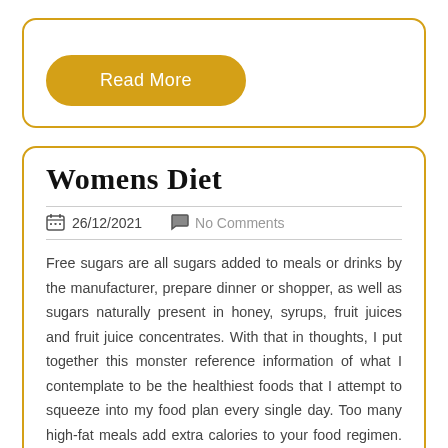Read More
Womens Diet
26/12/2021   No Comments
Free sugars are all sugars added to meals or drinks by the manufacturer, prepare dinner or shopper, as well as sugars naturally present in honey, syrups, fruit juices and fruit juice concentrates. With that in thoughts, I put together this monster reference information of what I contemplate to be the healthiest foods that I attempt to squeeze into my food plan every single day. Too many high-fat meals add extra calories to your food regimen. This can result in weight gain and obesity or increase your risk for sure issues. Heart disease, diabetes, some cancers, and osteoarthritis have all been linked to diets